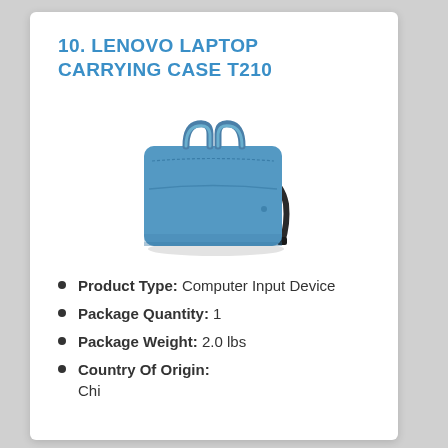10. LENOVO LAPTOP CARRYING CASE T210
[Figure (photo): Photo of the Lenovo Laptop Carrying Case T210 — a blue fabric laptop bag with top handles and a shoulder strap on the right side.]
Product Type: Computer Input Device
Package Quantity: 1
Package Weight: 2.0 lbs
Country Of Origin: Chi...